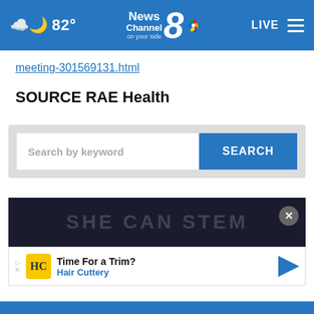[Figure (screenshot): NewsChannel 8 website header with weather (cloudy, 82°), NBC NewsChannel 8 logo, LIVE button, and hamburger menu on blue background]
meeting-301569131.html
SOURCE RAE Health
[Figure (screenshot): Search bar with placeholder 'Search by keyword' and a blue SEARCH button]
[Figure (screenshot): Ad banner with 'SHE CAN STEM' text and X close button on dark background]
[Figure (screenshot): Hair Cuttery advertisement: 'Time For a Trim? Hair Cuttery' with yellow HC logo and blue directional arrow]